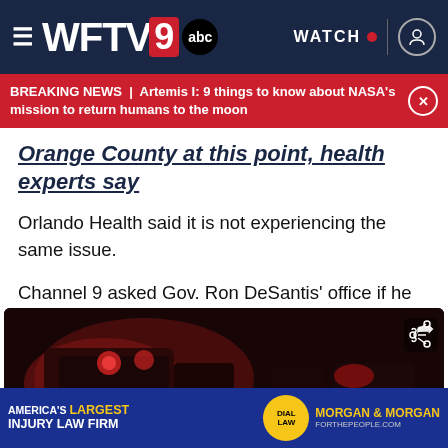WFTV 9 abc — WATCH
BREAKING NEWS | Artemis I: 9 things to know about NASA's mission to return humans to the moon
Orange County at this point, health experts say
Orlando Health said it is not experiencing the same issue.
Channel 9 asked Gov. Ron DeSantis' office if he was considering a disaster declaration so these hospitals can request help, but has not heard back.
[Figure (photo): Night scene showing ambulance with red emergency lights in dark setting]
AMERICA'S LARGEST INJURY LAW FIRM — DIAL LAW — MORGAN & MORGAN FORTHEPEOPLE.COM